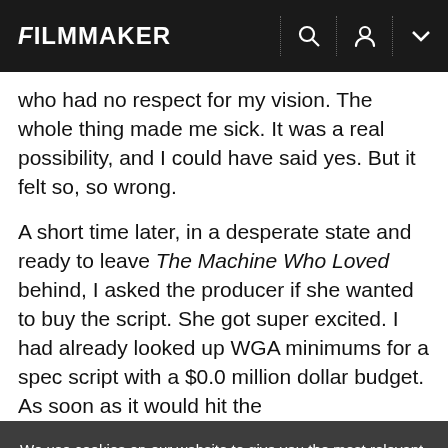FILMMAKER
who had no respect for my vision. The whole thing made me sick. It was a real possibility, and I could have said yes. But it felt so, so wrong.
A short time later, in a desperate state and ready to leave The Machine Who Loved behind, I asked the producer if she wanted to buy the script. She got super excited. I had already looked up WGA minimums for a spec script with a $0.0 million dollar budget. As soon as it would hit the
We use cookies on our website to give you the most relevant experience by remembering your preferences and repeat visits. By clicking "Accept All", you consent to the use of ALL the cookies. However, you may visit "Cookie Settings" to provide a controlled consent.
Cookie Settings
Accept All